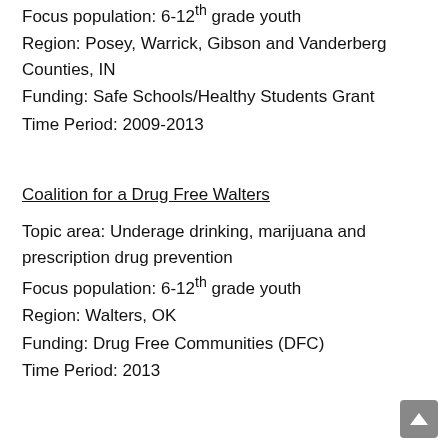Focus population: 6-12th grade youth
Region: Posey, Warrick, Gibson and Vanderberg Counties, IN
Funding: Safe Schools/Healthy Students Grant
Time Period: 2009-2013
Coalition for a Drug Free Walters
Topic area: Underage drinking, marijuana and prescription drug prevention
Focus population: 6-12th grade youth
Region: Walters, OK
Funding: Drug Free Communities (DFC)
Time Period: 2013